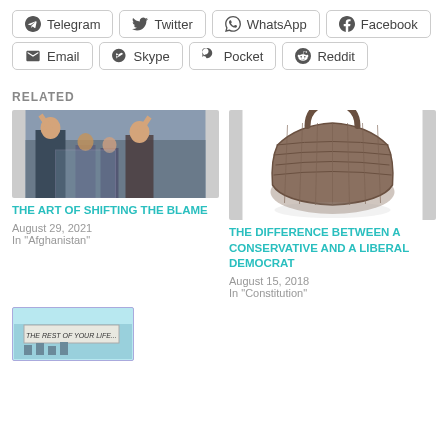Telegram
Twitter
WhatsApp
Facebook
Email
Skype
Pocket
Reddit
RELATED
[Figure (photo): People raising hands at an inauguration or swearing-in ceremony]
THE ART OF SHIFTING THE BLAME
August 29, 2021
In "Afghanistan"
[Figure (photo): A wicker basket on white background]
THE DIFFERENCE BETWEEN A CONSERVATIVE AND A LIBERAL DEMOCRAT
August 15, 2018
In "Constitution"
[Figure (photo): Thumbnail image with text: THE REST OF YOUR LIFE...]